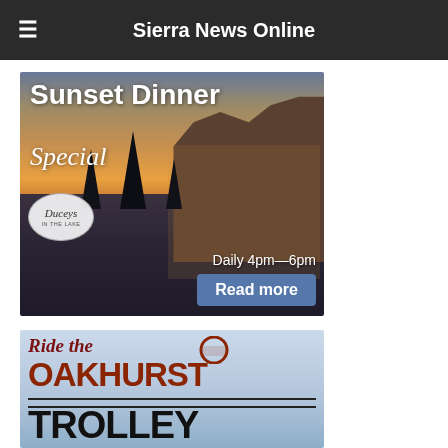Sierra News Online
[Figure (advertisement): Sunset Dinner Special advertisement for Duceys In The Lake restaurant. Shows a lakeside lodge at sunset with trees silhouetted. Text: 'Sunset Dinner Special', 'Duceys In The Lake', 'Daily 4pm—6pm', 'Read more' button.]
[Figure (advertisement): Ride the Oakhurst Trolley advertisement. Light blue background with trolley icon. Text: 'Ride the Oakhurst Trolley' in red and black lettering.]